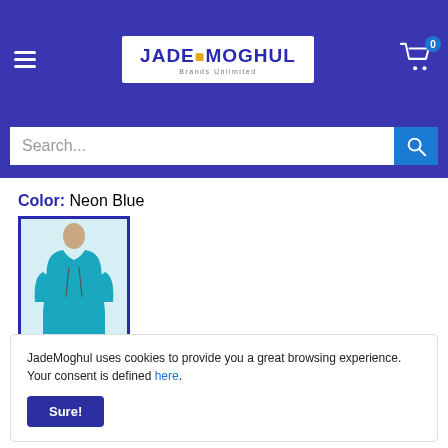JadeMoghul header with logo, hamburger menu, and cart
Search...
Color:  Neon Blue
[Figure (photo): Man wearing a teal/neon blue hoodie sweatshirt]
Size:  3XL
JadeMoghul uses cookies to provide you a great browsing experience. Your consent is defined here. Sure!